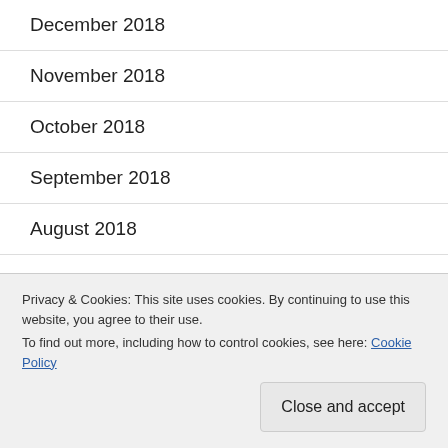December 2018
November 2018
October 2018
September 2018
August 2018
July 2018
June 2018
May 2018
Privacy & Cookies: This site uses cookies. By continuing to use this website, you agree to their use.
To find out more, including how to control cookies, see here: Cookie Policy